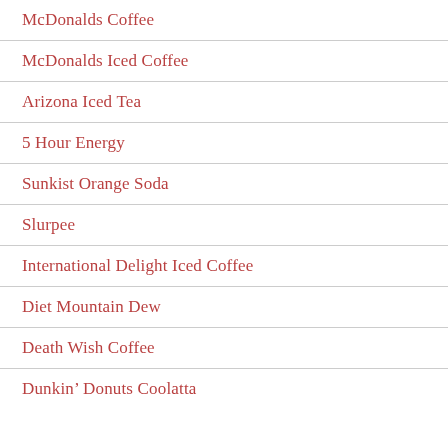McDonalds Coffee
McDonalds Iced Coffee
Arizona Iced Tea
5 Hour Energy
Sunkist Orange Soda
Slurpee
International Delight Iced Coffee
Diet Mountain Dew
Death Wish Coffee
Dunkin’ Donuts Coolatta